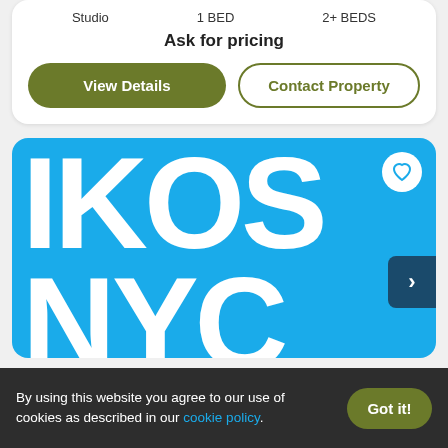Studio  1 BED  2+ BEDS
Ask for pricing
View Details
Contact Property
[Figure (logo): IKOS NYC logo on blue background with heart favorite icon and navigation arrow]
By using this website you agree to our use of cookies as described in our cookie policy.
Got it!